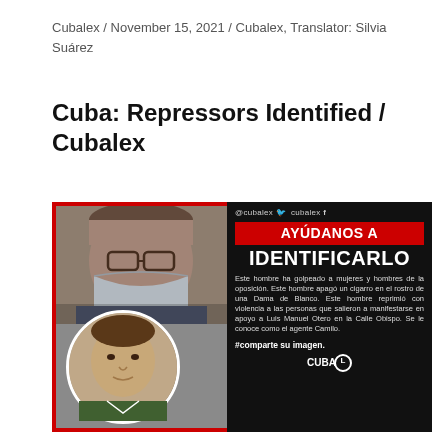Cubalex / November 15, 2021 / Cubalex, Translator: Silvia Suárez
Cuba: Repressors Identified / Cubalex
[Figure (photo): Composite image with red border. Left side shows two photos: top photo of a man wearing glasses and a face mask, bottom circular photo of a younger man. Right side is a black panel with social handles '@cubalex' on Twitter and 'cubalex' on Facebook, a red banner reading 'AYÚDANOS A', large white text 'IDENTIFICARLO', body text in Spanish describing the man's violent actions, hashtag '#comparte su imagen.' and the CUBALEX logo.]